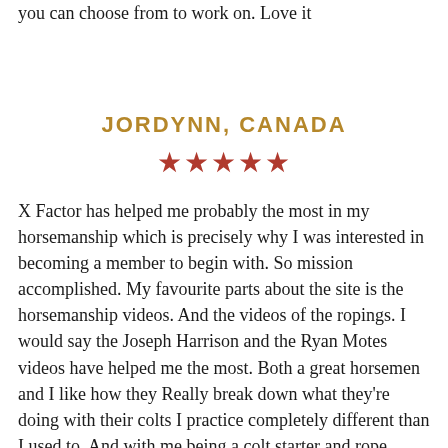you can choose from to work on. Love it
JORDYNN, CANADA
★★★★★
X Factor has helped me probably the most in my horsemanship which is precisely why I was interested in becoming a member to begin with. So mission accomplished. My favourite parts about the site is the horsemanship videos. And the videos of the ropings. I would say the Joseph Harrison and the Ryan Motes videos have helped me the most. Both a great horsemen and I like how they Really break down what they're doing with their colts I practice completely different than I used to. And with me being a colt starter and rope horse trainer I take a lot from the horse training videos. And really